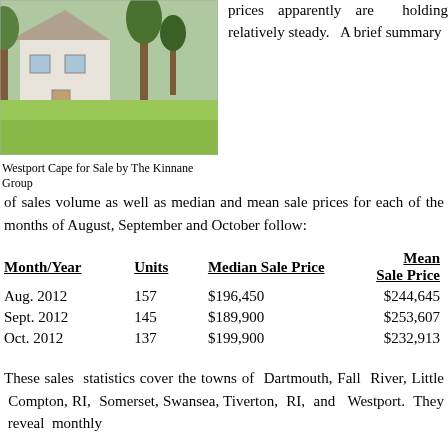[Figure (photo): Exterior photo of a Westport Cape house with green lawn, white siding, and trees in background]
Westport Cape for Sale by The Kinnane Group
prices apparently are holding relatively steady. A brief summary of sales volume as well as median and mean sale prices for each of the months of August, September and October follow:
| Month/Year | Units | Median Sale Price | Mean Sale Price |
| --- | --- | --- | --- |
| Aug. 2012 | 157 | $196,450 | $244,645 |
| Sept. 2012 | 145 | $189,900 | $253,607 |
| Oct. 2012 | 137 | $199,900 | $232,913 |
These sales statistics cover the towns of Dartmouth, Fall River, Little Compton, RI, Somerset, Swansea, Tiverton, RI, and Westport. They reveal monthly